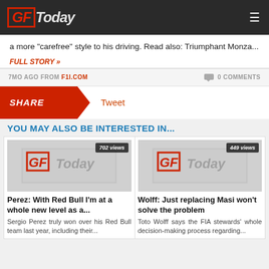GFToday
a more "carefree" style to his driving. Read also: Triumphant Monza...
FULL STORY »
7MO AGO FROM F1I.COM   0 COMMENTS
SHARE   Tweet
YOU MAY ALSO BE INTERESTED IN...
[Figure (other): GFToday logo placeholder image with 702 views badge]
Perez: With Red Bull I'm at a whole new level as a...
Sergio Perez truly won over his Red Bull team last year, including their...
[Figure (other): GFToday logo placeholder image with 449 views badge]
Wolff: Just replacing Masi won't solve the problem
Toto Wolff says the FIA stewards' whole decision-making process regarding...